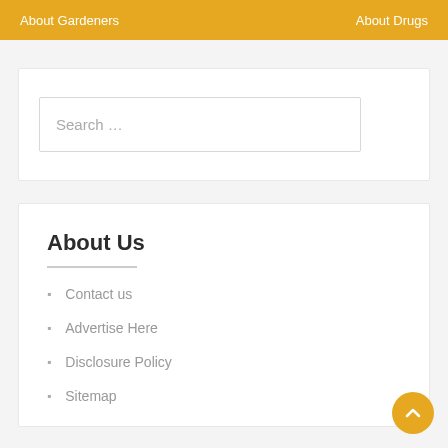About Gardeners | About Drugs
Search ...
About Us
Contact us
Advertise Here
Disclosure Policy
Sitemap